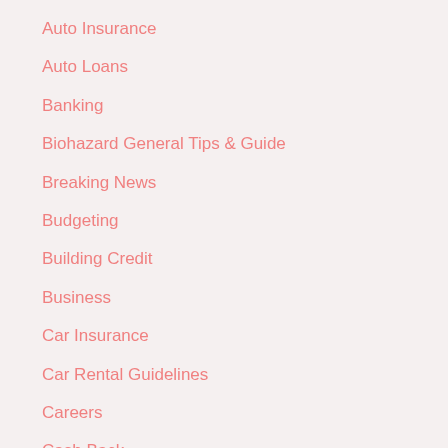Auto Insurance
Auto Loans
Banking
Biohazard General Tips & Guide
Breaking News
Budgeting
Building Credit
Business
Car Insurance
Car Rental Guidelines
Careers
Cash Back
Celebrity Homes
Checking Account